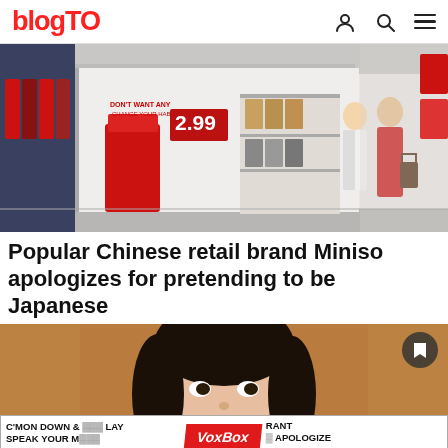blogTO
[Figure (photo): Interior of a Miniso retail store showing merchandise displays, red sale signs with 2.99 price tag, and shoppers browsing products]
Popular Chinese retail brand Miniso apologizes for pretending to be Japanese
[Figure (photo): Close-up portrait of an Asian woman's face on a tan/brown background, with a VoxBox promotional banner overlaid at the bottom reading: C'MON DOWN & ... LAY RANT / SPEAK YOUR M[IND] • APOLOGIZE / VoxBox / [just] tell us a good joke!]